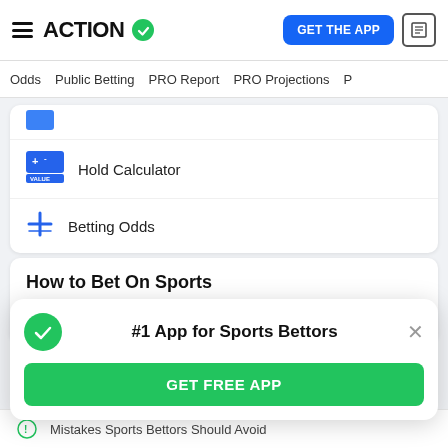ACTION — GET THE APP
Odds | Public Betting | PRO Report | PRO Projections
Hold Calculator
Betting Odds
How to Bet On Sports
Legal Sportsbook Details & Reviews
#1 App for Sports Bettors
GET FREE APP
Mistakes Sports Bettors Should Avoid